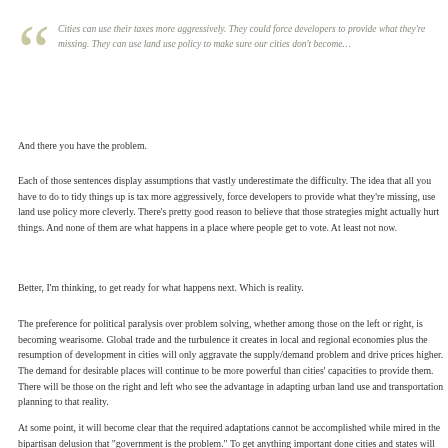Cities can use their taxes more aggressively. They could force developers to provide what they’re missing. They can use land use policy to make sure our cities don’t become…
And there you have the problem.
Each of those sentences display assumptions that vastly underestimate the difficulty. The idea that all you have to do to tidy things up is tax more aggressively, force developers to provide what they’re missing, use land use policy more cleverly. There’s pretty good reason to believe that those strategies might actually hurt things. And none of them are what happens in a place where people get to vote. At least not now.
Better, I’m thinking, to get ready for what happens next. Which is reality.
The preference for political paralysis over problem solving, whether among those on the left or right, is becoming wearisome. Global trade and the turbulence it creates in local and regional economies plus the resumption of development in cities will only aggravate the supply/demand problem and drive prices higher. The demand for desirable places will continue to be more powerful than cities’ capacities to provide them. There will be those on the right and left who see the advantage in adapting urban land use and transportation planning to that reality.
At some point, it will become clear that the required adaptations cannot be accomplished while mired in the bipartisan delusion that “government is the problem.” To get anything important done cities and states will need to be equipped to deal with challenges. That’s likely to require a new relationship between a private…